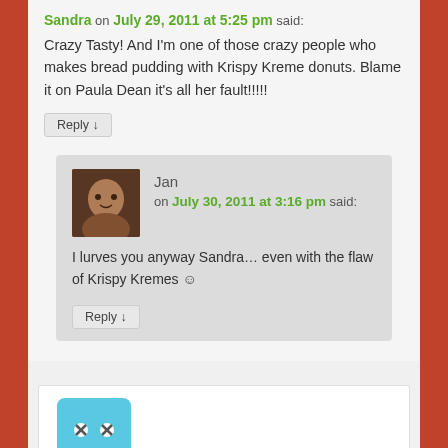Sandra on July 29, 2011 at 5:25 pm said:
Crazy Tasty! And I'm one of those crazy people who makes bread pudding with Krispy Kreme donuts. Blame it on Paula Dean it's all her fault!!!!!
Reply ↓
Jan on July 30, 2011 at 3:16 pm said:
I lurves you anyway Sandra… even with the flaw of Krispy Kremes ☺
Reply ↓
[Figure (photo): Avatar photo of a person]
[Figure (illustration): Blue avatar with x x face emoji]